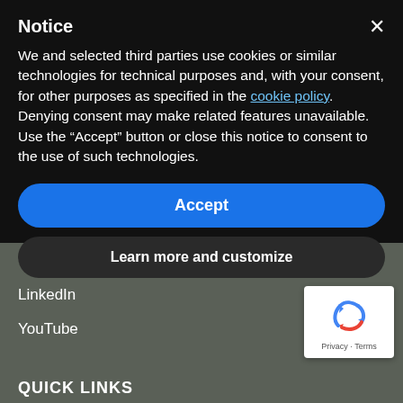Notice
We and selected third parties use cookies or similar technologies for technical purposes and, with your consent, for other purposes as specified in the cookie policy. Denying consent may make related features unavailable.
Use the “Accept” button or close this notice to consent to the use of such technologies.
Accept
Learn more and customize
Contacts
LinkedIn
YouTube
[Figure (logo): Google reCAPTCHA badge with recycling-arrow logo icon and 'Privacy - Terms' text below]
QUICK LINKS